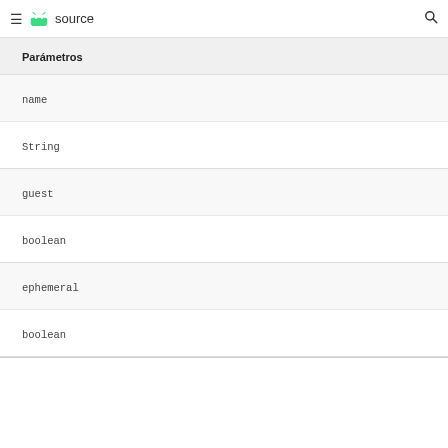≡ android source 🔍
Parámetros
name
String
guest
boolean
ephemeral
boolean